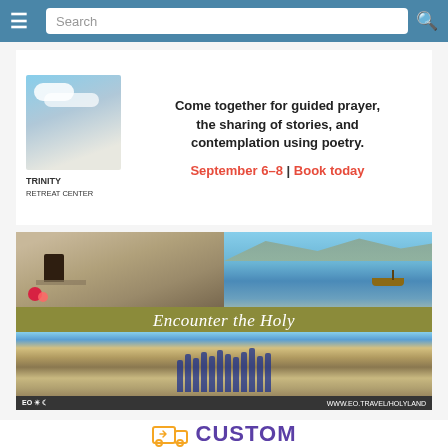Search
[Figure (photo): Trinity Retreat Center advertisement: image of sky/clouds on left, text reads 'Come together for guided prayer, the sharing of stories, and contemplation using poetry. TRINITY RETREAT CENTER | September 6-8 | Book today']
[Figure (photo): EO Travel Holy Land advertisement featuring ancient tomb exterior, Sea of Galilee with boat, text banner 'Encounter the Holy', group of pilgrims at archaeological site, footer with EO logo and WWW.EO.TRAVEL/HOLYLAND]
[Figure (logo): Custom Drives advertisement showing a truck/van icon with arrows and the text CUSTOM in large purple bold letters]